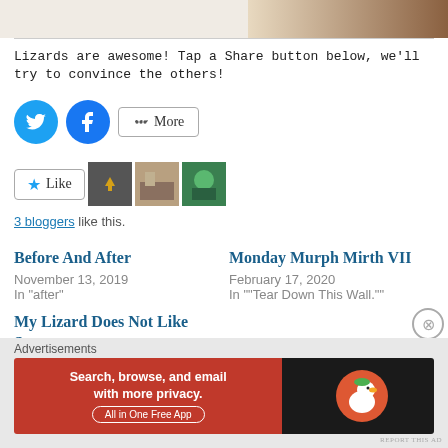[Figure (photo): Top partial ad image with brown/skin tones, REPORT THIS AD label]
Lizards are awesome! Tap a Share button below, we'll try to convince the others!
[Figure (infographic): Twitter and Facebook share buttons, and a More share button]
[Figure (infographic): Like button with star, followed by three thumbnail images]
3 bloggers like this.
Before And After
November 13, 2019
In "after"
Monday Murph Mirth VII
February 17, 2020
In ""Tear Down This Wall.""
My Lizard Does Not Like Strangers
Advertisements
[Figure (infographic): DuckDuckGo advertisement banner: Search, browse, and email with more privacy. All in One Free App]
REPORT THIS AD